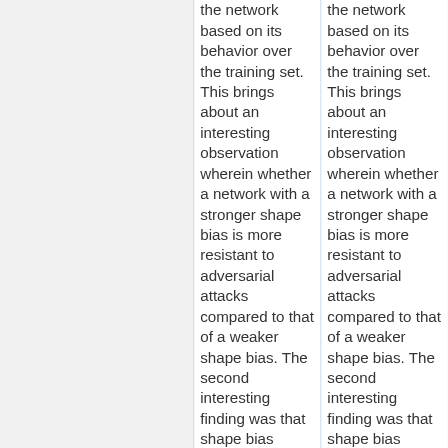the network based on its behavior over the training set. This brings about an interesting observation wherein whether a network with a stronger shape bias is more resistant to adversarial attacks compared to that of a weaker shape bias. The second interesting finding was that shape bias emerges early on in training, long
the network based on its behavior over the training set. This brings about an interesting observation wherein whether a network with a stronger shape bias is more resistant to adversarial attacks compared to that of a weaker shape bias. The second interesting finding was that shape bias emerges early on in training, long